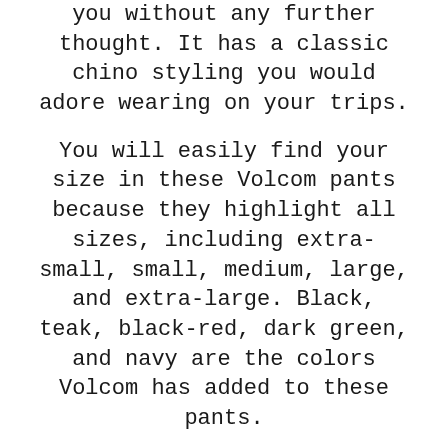you without any further thought. It has a classic chino styling you would adore wearing on your trips.
You will easily find your size in these Volcom pants because they highlight all sizes, including extra-small, small, medium, large, and extra-large. Black, teak, black-red, dark green, and navy are the colors Volcom has added to these pants.
Unlike many other snow pants, you will find Zip Tech features with it. The jacket-to-pant interface will permit you to fix your snowboard jackets and pant tight, which will not allow any natural elements like snow, wind, etc., to reach you.
It will keep snow and cold out while you feel